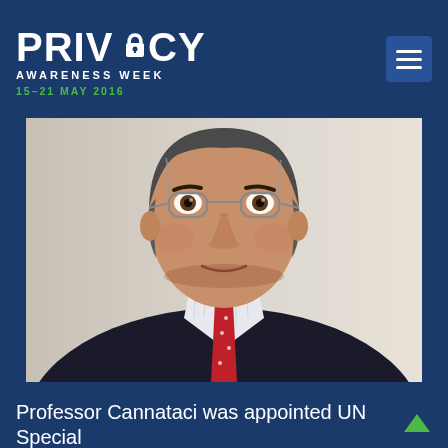PRIVACY AWARENESS WEEK 15–21 MAY 2016
[Figure (photo): Portrait photo of Professor Cannataci, a man wearing glasses, a dark suit jacket, white shirt and red tie, photographed against a light background.]
Professor Cannataci was appointed UN Special